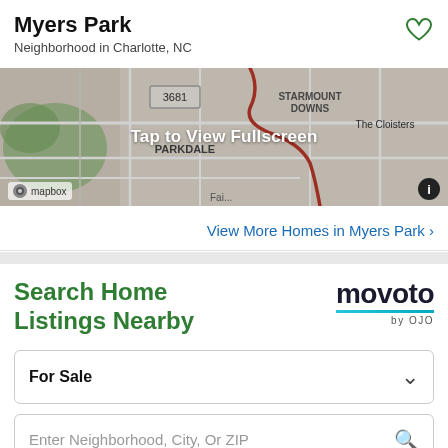Myers Park
Neighborhood in Charlotte, NC
[Figure (map): Map showing Myers Park neighborhood area in Charlotte, NC with surrounding neighborhoods including Parkdale, Starmount Downs, and The Cloisters. Red route line visible. Mapbox attribution shown.]
Tap to View Fullscreen
View More Homes in Myers Park >
Search Home Listings Nearby
[Figure (logo): Movoto by OJO logo with teal underline]
For Sale
Enter Neighborhood, City, Or ZIP
See Listings